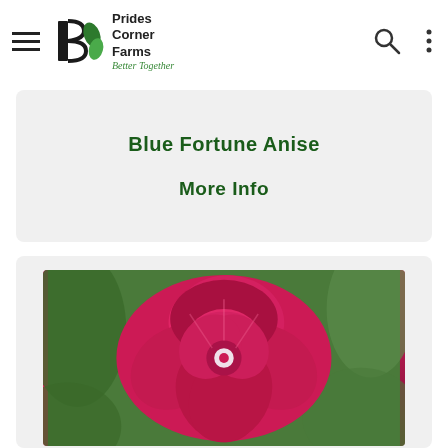Prides Corner Farms — Better Together
Blue Fortune Anise
More Info
[Figure (photo): Close-up photo of a large, ruffled deep pink/red double flower (hollyhock or similar) with green foliage in background]